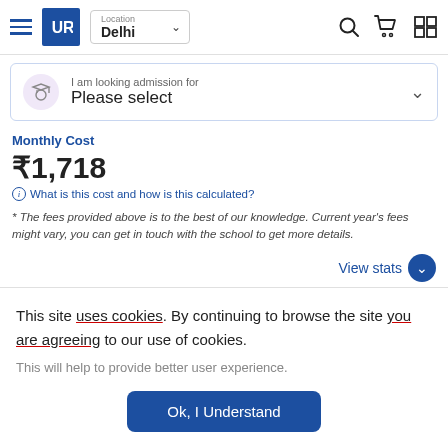UR — Location: Delhi — Navigation bar with hamburger menu, logo, location selector, search, cart, and grid icons
I am looking admission for — Please select
Monthly Cost
₹1,718
i What is this cost and how is this calculated?
* The fees provided above is to the best of our knowledge. Current year's fees might vary, you can get in touch with the school to get more details.
View stats
Poll & Opinion
This site uses cookies. By continuing to browse the site you are agreeing to our use of cookies.
This will help to provide better user experience.
Ok, I Understand